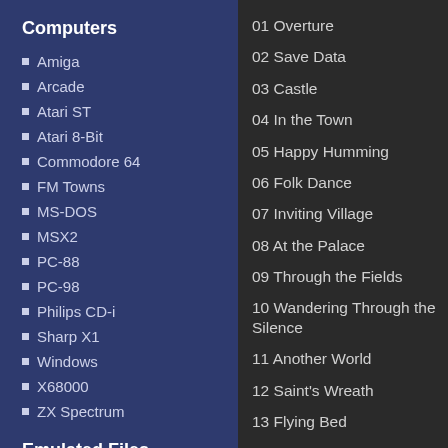Computers
Amiga
Arcade
Atari ST
Atari 8-Bit
Commodore 64
FM Towns
MS-DOS
MSX2
PC-88
PC-98
Philips CD-i
Sharp X1
Windows
X68000
ZX Spectrum
Emulated Files
01 Overture
02 Save Data
03 Castle
04 In the Town
05 Happy Humming
06 Folk Dance
07 Inviting Village
08 At the Palace
09 Through the Fields
10 Wandering Through the Silence
11 Another World
12 Saint's Wreath
13 Flying Bed
14 Ocean Waves